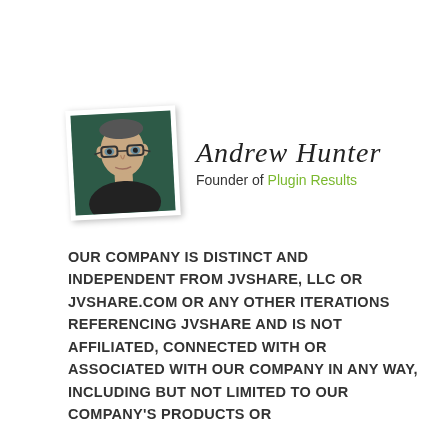[Figure (photo): Photo of Andrew Hunter, a man wearing glasses and a dark shirt, against a dark green background. Photo is displayed in a Polaroid-style white frame, slightly rotated.]
Andrew Hunter
Founder of Plugin Results
OUR COMPANY IS DISTINCT AND INDEPENDENT FROM JVSHARE, LLC OR JVSHARE.COM OR ANY OTHER ITERATIONS REFERENCING JVSHARE AND IS NOT AFFILIATED, CONNECTED WITH OR ASSOCIATED WITH OUR COMPANY IN ANY WAY, INCLUDING BUT NOT LIMITED TO OUR COMPANY'S PRODUCTS OR